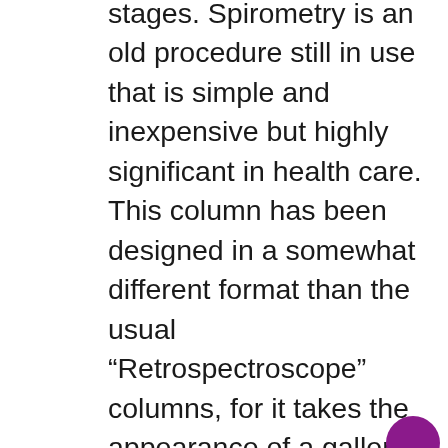stages. Spirometry is an old procedure still in use that is simple and inexpensive but highly significant in health care. This column has been designed in a somewhat different format than the usual “Retrospectroscope” columns, for it takes the appearance of a gallery, mostly showing pictures along with brief descriptions in which their respective origins are given, when possible. It must be underlined the great difficulty of searching for this kind of old information, which deals with a highly dispersed subject and innumerable contributions, far more than those